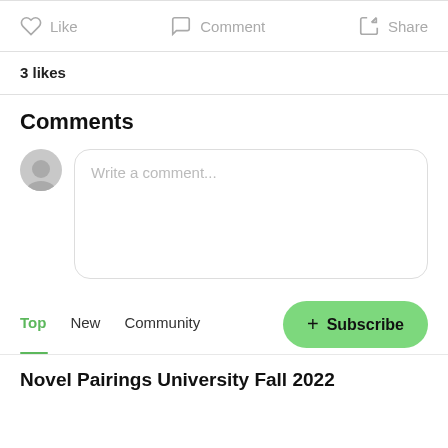Like  Comment  Share
3 likes
Comments
Write a comment...
Top  New  Community
+ Subscribe
Novel Pairings University Fall 2022